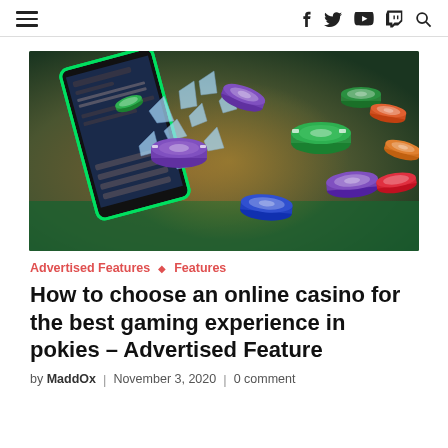≡  f  twitter  youtube  twitch  🔍
[Figure (photo): Casino chips and cards flying out of a mobile phone screen, breaking the screen glass, on a green background. Colorful chips in green, purple, red, blue, orange colors scattered in the air.]
Advertised Features ◇ Features
How to choose an online casino for the best gaming experience in pokies – Advertised Feature
by MaddOx | November 3, 2020 | 0 comment